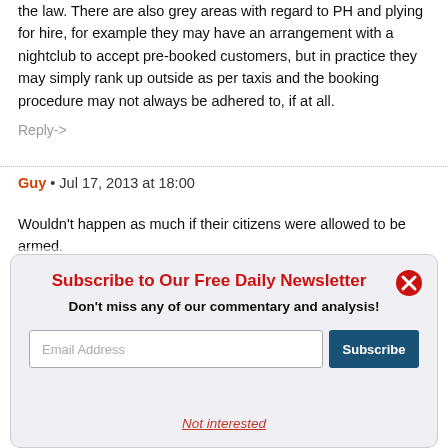the law. There are also grey areas with regard to PH and plying for hire, for example they may have an arrangement with a nightclub to accept pre-booked customers, but in practice they may simply rank up outside as per taxis and the booking procedure may not always be adhered to, if at all.
Reply->
Guy • Jul 17, 2013 at 18:00
Wouldn't happen as much if their citizens were allowed to be armed.
Subscribe to Our Free Daily Newsletter
Don't miss any of our commentary and analysis!
Not interested